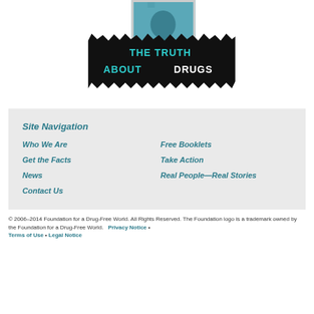[Figure (photo): Website header image showing a person's face in a polaroid-style photo frame with a black jagged banner overlay reading 'THE TRUTH ABOUT DRUGS' in teal and white text]
Site Navigation
Who We Are
Free Booklets
Get the Facts
Take Action
News
Real People—Real Stories
Contact Us
© 2006–2014 Foundation for a Drug-Free World. All Rights Reserved. The Foundation logo is a trademark owned by the Foundation for a Drug-Free World. Privacy Notice • Terms of Use • Legal Notice